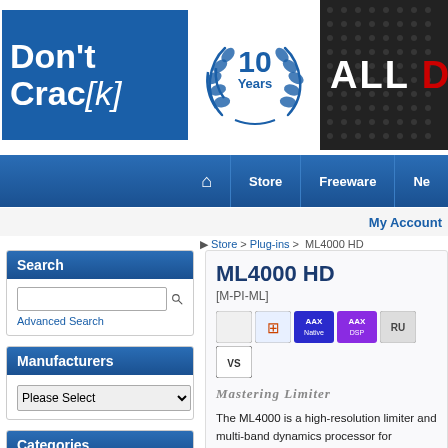[Figure (logo): Don't Crack logo - blue box with white text 'Don't Crac[k]']
[Figure (logo): 10 Years badge with laurel wreath in navy blue]
[Figure (logo): ALL D banner on dark background]
Home | Store | Freeware | Ne...
My Account
Store > Plug-ins > ML4000 HD
Search
Advanced Search
Manufacturers
Categories
Books (2)
DJ (6)
Editors (16)
ML4000 HD
[M-PI-ML]
Mastering Limiter
The ML4000 is a high-resolution limiter and multi-band dynamics processor for mastering, mixing, and live sound.
The ML4000 is two plug-ins:
ML1 – mastering limiter
ML4 – multi-band Gate, Expander, and C...